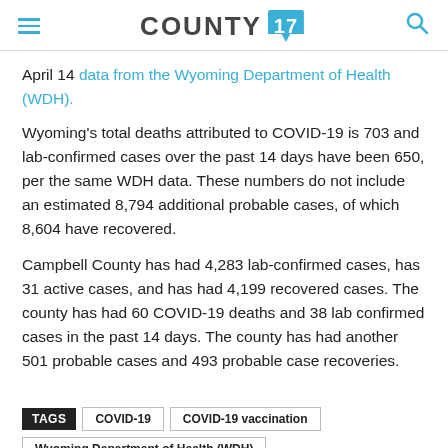COUNTY 17
April 14 data from the Wyoming Department of Health (WDH).
Wyoming's total deaths attributed to COVID-19 is 703 and lab-confirmed cases over the past 14 days have been 650, per the same WDH data. These numbers do not include an estimated 8,794 additional probable cases, of which 8,604 have recovered.
Campbell County has had 4,283 lab-confirmed cases, has 31 active cases, and has had 4,199 recovered cases. The county has had 60 COVID-19 deaths and 38 lab confirmed cases in the past 14 days. The county has had another 501 probable cases and 493 probable case recoveries.
TAGS  COVID-19  COVID-19 vaccination  Wyoming Department of Health (WDH)